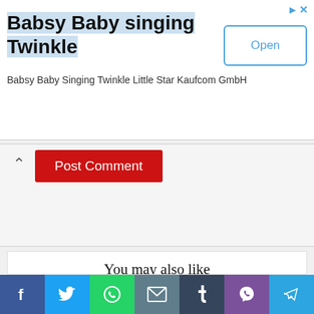[Figure (screenshot): Advertisement banner for 'Babsy Baby singing Twinkle' app by Kaufcom GmbH with an Open button]
Post Comment
You may also like
Repeat caesarean section
The movement of the child before birth
Storage Breast Milk
Childbirth in Germany
Childbirth in England
Adhesions after cesarean section
Childbirth in France
[Figure (screenshot): Social media sharing bar with Facebook, Twitter, WhatsApp, Email, Tumblr, Viber, and Telegram icons]